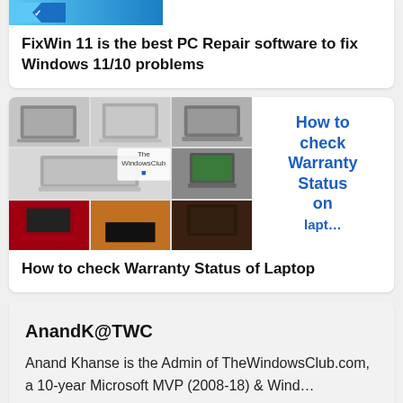FixWin 11 is the best PC Repair software to fix Windows 11/10 problems
[Figure (screenshot): Collage of multiple laptop images with text overlay reading 'How to check Warranty Status on laptop']
How to check Warranty Status of Laptop
AnandK@TWC
Anand Khanse is the Admin of TheWindowsClub.com, a 10-year Microsoft MVP (2008-18) & Windows